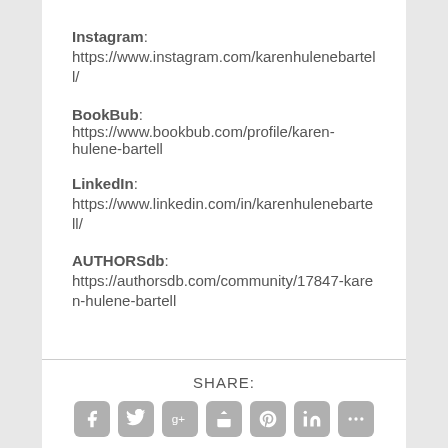Instagram: https://www.instagram.com/karenhulenebartell/
BookBub: https://www.bookbub.com/profile/karen-hulene-bartell
LinkedIn: https://www.linkedin.com/in/karenhulenebartell/
AUTHORSdb: https://authorsdb.com/community/17847-karen-hulene-bartell
SHARE:
[Figure (other): Row of social media share icon buttons (Facebook, Twitter, Google+, share, Pinterest, LinkedIn, and one more) in grey rounded squares]